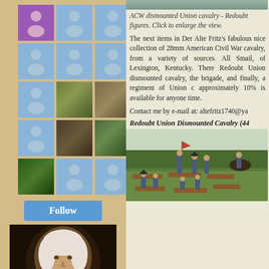[Figure (screenshot): Avatar grid showing follower icons in blue and purple squares, some with thumbnail images of miniatures and terrain]
[Figure (photo): Portrait painting of Frederick the Great of Prussia]
Frederick the Great of Prussia
Sudan Figures
ACW dismounted Union cavalry - Redoubt figures. Click to enlarge the view.
The next items in Der Alte Fritz's fabulous nice collection of 28mm American Civil War cavalry, from a variety of sources. All Smail, of Lexington, Kentucky. There Redoubt Union dismounted cavalry, the brigade, and finally, a regiment of Union cavalry approximately 10% is available for anyone time.
Contact me by e-mail at: altefritz1740@ya
Redoubt Union Dismounted Cavalry (44
[Figure (photo): Miniature soldiers - ACW dismounted Union cavalry figures on green terrain base]